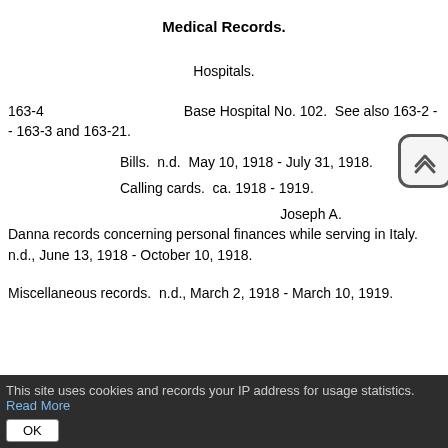Medical Records.
Hospitals.
163-4		Base Hospital No. 102.  See also 163-2 -- 163-3 and 163-21.
Bills.  n.d.  May 10, 1918 - July 31, 1918.
Calling cards.  ca. 1918 - 1919.
Joseph A. Danna records concerning personal finances while serving in Italy.  n.d., June 13, 1918 - October 10, 1918.
Miscellaneous records.  n.d., March 2, 1918 - March 10, 1919.
This site uses cookies and records your IP address for usage statistics. Read More  OK